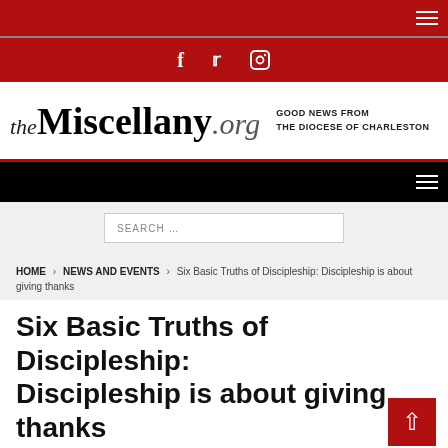theMiscellany.org — GOOD NEWS FROM THE DIOCESE OF CHARLESTON
HOME > NEWS AND EVENTS > Six Basic Truths of Discipleship: Discipleship is about giving thanks
Six Basic Truths of Discipleship: Discipleship is about giving thanks